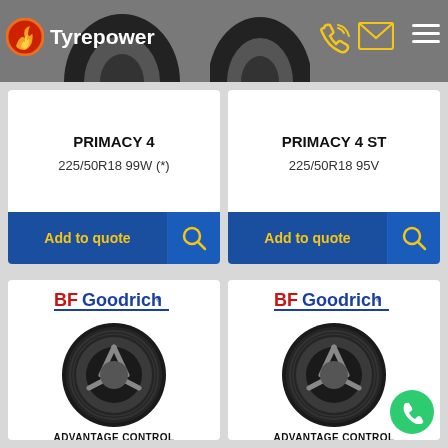Tyrepower
PRIMACY 4
225/50R18 99W (*)
Add to quote
PRIMACY 4 ST
225/50R18 95V
Add to quote
[Figure (logo): BFGoodrich logo left card]
[Figure (photo): BFGoodrich tyre left]
ADVANTAGE CONTROL
[Figure (logo): BFGoodrich logo right card]
[Figure (photo): BFGoodrich tyre right]
ADVANTAGE CONTROL